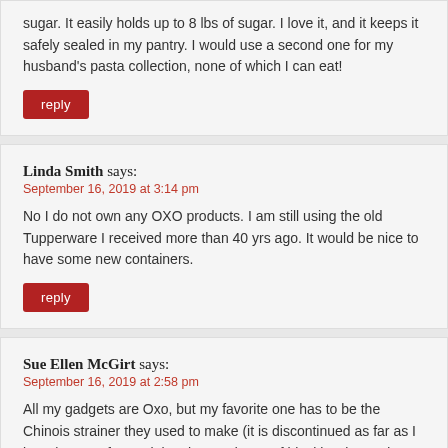sugar. It easily holds up to 8 lbs of sugar. I love it, and it keeps it safely sealed in my pantry. I would use a second one for my husband's pasta collection, none of which I can eat!
reply
Linda Smith says:
September 16, 2019 at 3:14 pm
No I do not own any OXO products. I am still using the old Tupperware I received more than 40 yrs ago. It would be nice to have some new containers.
reply
Sue Ellen McGirt says:
September 16, 2019 at 2:58 pm
All my gadgets are Oxo, but my favorite one has to be the Chinois strainer they used to make (it is discontinued as far as I know). Great for straining the seeds out of blackberries and other fruit. Sadly it got left behind in my storage unit in North Carolina when I moved so I haven't seen it in a few years.